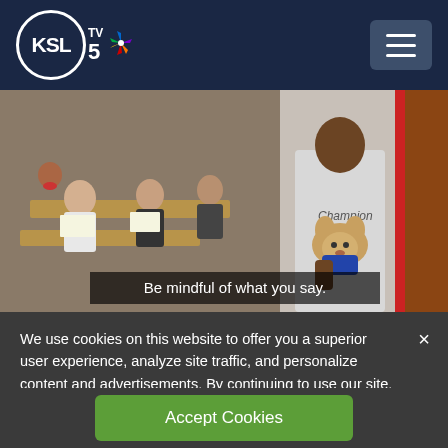KSL TV 5 NBC
[Figure (screenshot): Video thumbnail showing a classroom scene on the left with students at desks, and a person in a Champion hoodie holding a small dog on the right. A subtitle overlay reads: 'Be mindful of what you say.']
We use cookies on this website to offer you a superior user experience, analyze site traffic, and personalize content and advertisements. By continuing to use our site, you consent to our use of cookies. Please visit our Privacy Policy for more information.
Accept Cookies